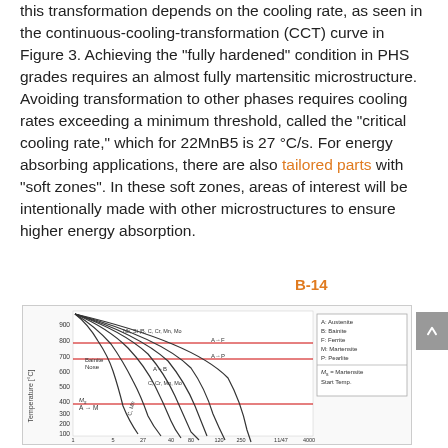this transformation depends on the cooling rate, as seen in the continuous-cooling-transformation (CCT) curve in Figure 3. Achieving the "fully hardened" condition in PHS grades requires an almost fully martensitic microstructure. Avoiding transformation to other phases requires cooling rates exceeding a minimum threshold, called the "critical cooling rate," which for 22MnB5 is 27 °C/s. For energy absorbing applications, there are also tailored parts with "soft zones". In these soft zones, areas of interest will be intentionally made with other microstructures to ensure higher energy absorption.
[Figure (continuous-plot): Continuous-cooling-transformation (CCT) diagram showing temperature vs time curves for different steel compositions. Includes regions for Austenite, Bainite, Ferrite, Martensite, and Pearlite phases. Shows Bainite Nose, A→M, A→B, A→F, A→P transformation lines. Legend includes A: Austenite, B: Bainite, F: Ferrite, M: Martensite, P: Pearlite, Ms = Martensite Start Temp. Y-axis: Temperature [°C] from 100 to 900. X-axis: Time to cool [s].]